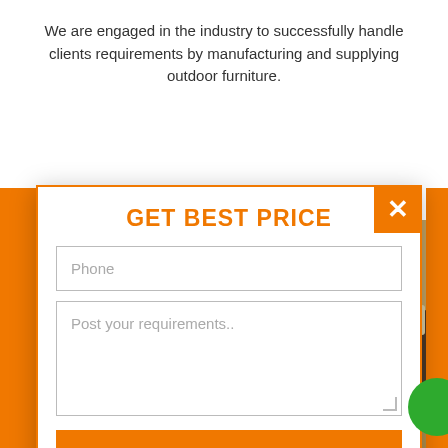We are engaged in the industry to successfully handle clients requirements by manufacturing and supplying outdoor furniture.
[Figure (screenshot): Modal popup dialog on a website showing a 'GET BEST PRICE' contact form with Phone field, Post your requirements textarea, and a SEND MESSAGE button. The modal has an orange border with an orange X close button in the top right corner. Behind the modal is a photo of outdoor wicker patio furniture.]
GET BEST PRICE